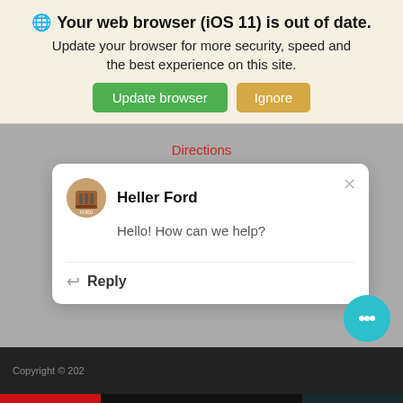[Figure (screenshot): Browser out-of-date notification banner with globe icon, update and ignore buttons]
Directions
Local Phone: (309) 527-6050
[Figure (screenshot): Heller Ford chat popup with logo, greeting 'Hello! How can we help?' and Reply button]
Copyright © 202…
[Figure (screenshot): Bottom navigation bar with Filter, Saved, Share, Contact buttons and teal chat bubble]